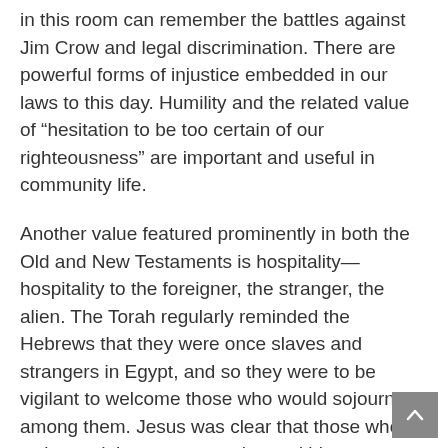in this room can remember the battles against Jim Crow and legal discrimination. There are powerful forms of injustice embedded in our laws to this day. Humility and the related value of “hesitation to be too certain of our righteousness” are important and useful in community life.
Another value featured prominently in both the Old and New Testaments is hospitality—hospitality to the foreigner, the stranger, the alien. The Torah regularly reminded the Hebrews that they were once slaves and strangers in Egypt, and so they were to be vigilant to welcome those who would sojourn among them. Jesus was clear that those who welcomed the stranger welcomed him: welcomed the very image and being of God.